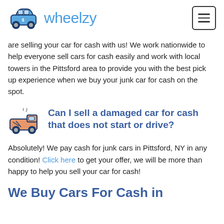wheelzy
are selling your car for cash with us! We work nationwide to help everyone sell cars for cash easily and work with local towers in the Pittsford area to provide you with the best pick up experience when we buy your junk car for cash on the spot.
Can I sell a damaged car for cash that does not start or drive?
Absolutely! We pay cash for junk cars in Pittsford, NY in any condition! Click here to get your offer, we will be more than happy to help you sell your car for cash!
We Buy Cars For Cash in